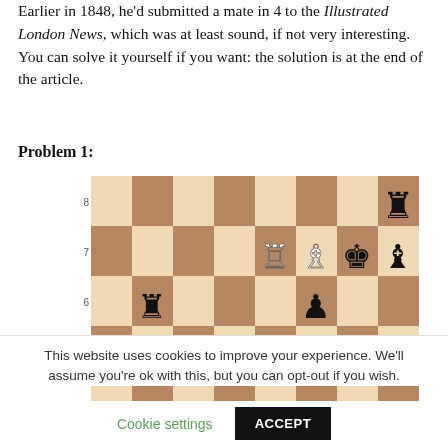Earlier in 1848, he'd submitted a mate in 4 to the Illustrated London News, which was at least sound, if not very interesting. You can solve it yourself if you want: the solution is at the end of the article.
Problem 1:
[Figure (other): A chess board diagram showing a chess problem position. The board shows ranks 5-8 visible. Pieces visible: Black rook on h8, White rook on e7, White bishop on f7, Black king on g7, Black bishop on h7, Black rook on b6, Black pawn on f6, Black pawn on f5, Black pawn on h5. Row numbers 8,7,6,5 shown on left side.]
This website uses cookies to improve your experience. We'll assume you're ok with this, but you can opt-out if you wish.
Cookie settings    ACCEPT